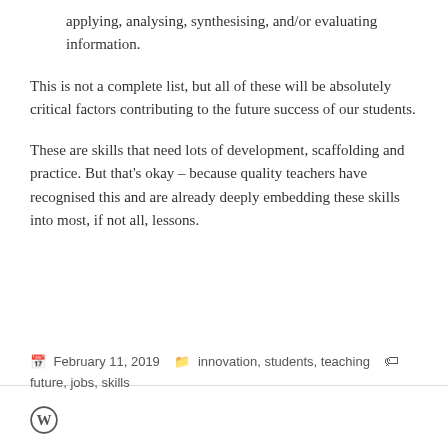applying, analysing, synthesising, and/or evaluating information.
This is not a complete list, but all of these will be absolutely critical factors contributing to the future success of our students.
These are skills that need lots of development, scaffolding and practice. But that's okay – because quality teachers have recognised this and are already deeply embedding these skills into most, if not all, lessons.
February 11, 2019   innovation, students, teaching   future, jobs, skills